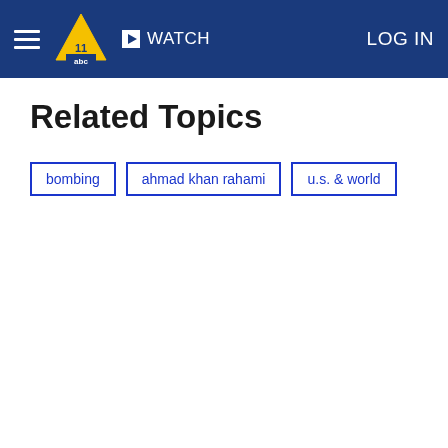WATCH  LOG IN
Related Topics
bombing
ahmad khan rahami
u.s. & world